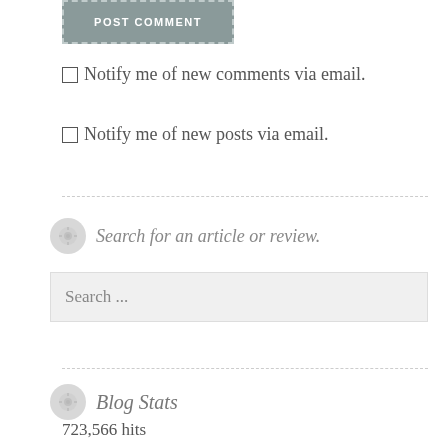[Figure (screenshot): POST COMMENT button with dashed border on grey background]
Notify me of new comments via email.
Notify me of new posts via email.
Search for an article or review.
Search ...
Blog Stats
723,566 hits
[Figure (screenshot): Follow Snyder's Soapbox button in teal/cyan color]